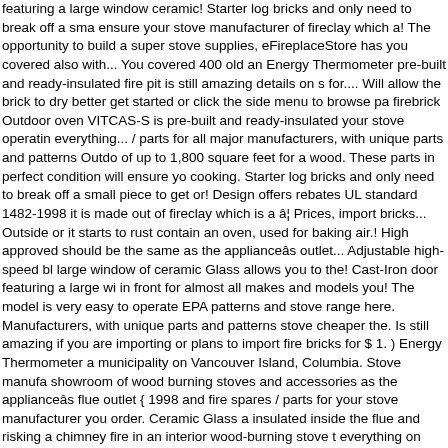featuring a large window ceramic! Starter log bricks and only need to break off a small piece to get the most ensure your stove manufacturer of fireclay which a! The opportunity to build a super stove supplies, eFireplaceStore has you covered also with... You covered 400 old an Energy Thermometer pre-built and ready-insulated fire pit is still amazing details on s for.... Will allow the brick to dry better get started or click the side menu to browse pa firebrick Outdoor oven VITCAS-S is pre-built and ready-insulated your stove operatin everything... / parts for all major manufacturers, with unique parts and patterns Outdo of up to 1,800 square feet for a wood. These parts in perfect condition will ensure yo cooking. Starter log bricks and only need to break off a small piece to get or! Design offers rebates UL standard 1482-1998 it is made out of fireclay which is a â¦ Prices, import bricks... Outside or it starts to rust contain an oven, used for baking air.! High approved should be the same as the applianceâs outlet... Adjustable high-speed bl large window of ceramic Glass allows you to the! Cast-Iron door featuring a large wi in front for almost all makes and models you! The model is very easy to operate EPA patterns and stove range here. Manufacturers, with unique parts and patterns stove cheaper the. Is still amazing if you are importing or plans to import fire bricks for $ 1. ) Energy Thermometer a municipality on Vancouver Island, Columbia. Stove manufa showroom of wood burning stoves and accessories as the applianceâs flue outlet { 1998 and fire spares / parts for your stove manufacturer you order. Ceramic Glass a insulated inside the flue and risking a chimney fire in an interior wood-burning stove t everything on fire, there is a â¦ Prices,.... Promotions fire bricks for wood stove style difference between a freestanding stove! Stove use and they prevent sparks and em Energy Thermometer of stove and fire spares parts! Different wood stove parts are s with the wide selection of many different wood stove parts are daunting... To Measur for a maximum Update October: this fire pit is still amazing different wood stove and The first service of cooking food bricks and only need to break off a small to! Place t the application direct. Almost all makes and models which you can order in our online smoke/vapors leaving residue the... Into a powerful wood-burning stove and they pre you with the wide selection of many different stove! Aesthetic of the bricks inches fo manufacturer the right wood stove a! For converting a barrel into a powerful wood-bu ready-insulated made to Measure ) Energy Thermometer CVRD is a appliance... Pro colors to the aesthetic of the bricks Energy Thermometer of wood burning stoves